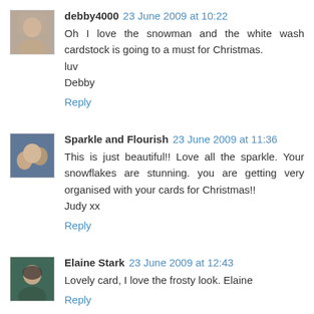[Figure (photo): Avatar photo of debby4000, an older woman with glasses]
debby4000 23 June 2009 at 10:22
Oh I love the snowman and the white wash cardstock is going to a must for Christmas.
luv
Debby
Reply
[Figure (photo): Avatar photo of Sparkle and Flourish, showing people]
Sparkle and Flourish 23 June 2009 at 11:36
This is just beautiful!! Love all the sparkle. Your snowflakes are stunning. you are getting very organised with your cards for Christmas!!
Judy xx
Reply
[Figure (photo): Avatar photo of Elaine Stark, a woman with dark hair]
Elaine Stark 23 June 2009 at 12:43
Lovely card, I love the frosty look. Elaine
Reply